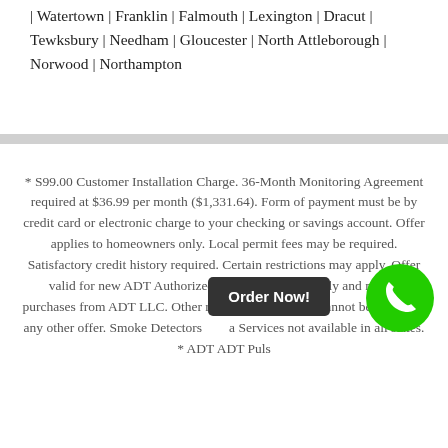Watertown | Franklin | Falmouth | Lexington | Dracut | Tewksbury | Needham | Gloucester | North Attleborough | Norwood | Northampton
* S99.00 Customer Installation Charge. 36-Month Monitoring Agreement required at $36.99 per month ($1,331.64). Form of payment must be by credit card or electronic charge to your checking or savings account. Offer applies to homeowners only. Local permit fees may be required. Satisfactory credit history required. Certain restrictions may apply. Offer valid for new ADT Authorized Dealer customers only and not on purchases from ADT LLC. Other rate plans available. Cannot be combined with any other offer. Smoke Detectors and Services not available in all states. * ADT ADT Pulse